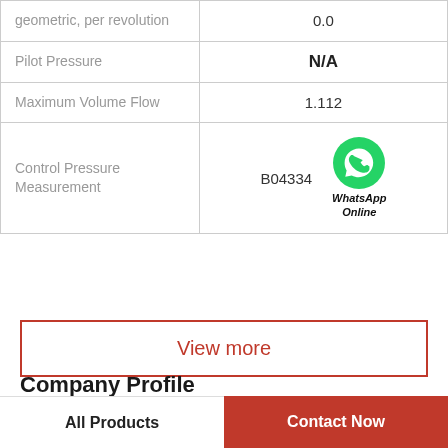| Parameter | Value |
| --- | --- |
| geometric, per revolution | 0.0 |
| Pilot Pressure | N/A |
| Maximum Volume Flow | 1.112 |
| Control Pressure Measurement | B04334 |
View more
Company Profile
HDF Hydraulic Equipment Co.Ltd
All Products   Contact Now